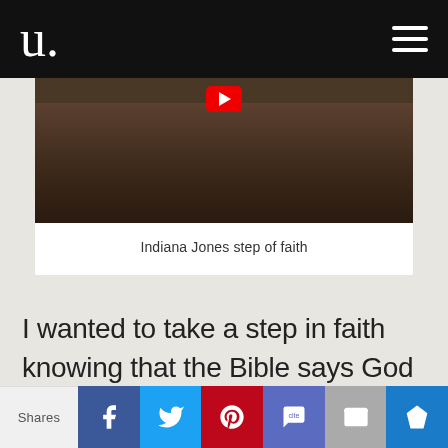u [logo] [hamburger menu]
[Figure (screenshot): Video thumbnail showing Indiana Jones scene, dark cinematic still with a person in jacket, red YouTube play button overlay at top center]
Indiana Jones step of faith
I wanted to take a step in faith knowing that the Bible says God will give me the desires of my heart (Psalm 37:4). The
Shares | Facebook | Twitter | Pinterest | SMS | Email | Crown